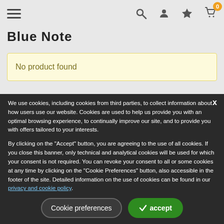Blue Note
No product found
We use cookies, including cookies from third parties, to collect information about how users use our website. Cookies are used to help us provide you with an optimal browsing experience, to continually improve our site, and to provide you with offers tailored to your interests.

By clicking on the "Accept" button, you are agreeing to the use of all cookies. If you close this banner, only technical and analytical cookies will be used for which your consent is not required. You can revoke your consent to all or some cookies at any time by clicking on the "Cookie Preferences" button, also accessible in the footer of the site. Detailed information on the use of cookies can be found in our privacy and cookie policy.